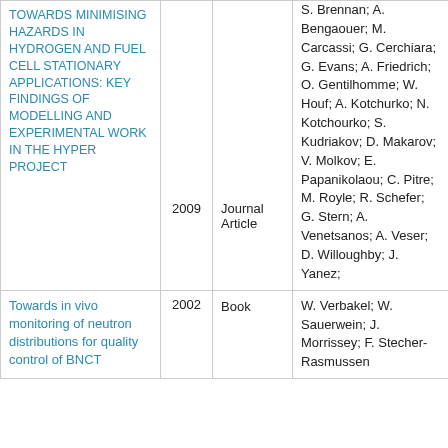| Title | Year | Type | Authors |
| --- | --- | --- | --- |
| TOWARDS MINIMISING HAZARDS IN HYDROGEN AND FUEL CELL STATIONARY APPLICATIONS: KEY FINDINGS OF MODELLING AND EXPERIMENTAL WORK IN THE HYPER PROJECT | 2009 | Journal Article | S. Brennan; A. Bengaouer; M. Carcassi; G. Cerchiara; G. Evans; A. Friedrich; O. Gentilhomme; W. Houf; A. Kotchurko; N. Kotchourko; S. Kudriakov; D. Makarov; V. Molkov; E. Papanikolaou; C. Pitre; M. Royle; R. Schefer; G. Stern; A. Venetsanos; A. Veser; D. Willoughby; J. Yanez; |
| Towards in vivo monitoring of neutron distributions for quality control of BNCT | 2002 | Book | W. Verbakel; W. Sauerwein; J. Morrissey; F. Stecher-Rasmussen |